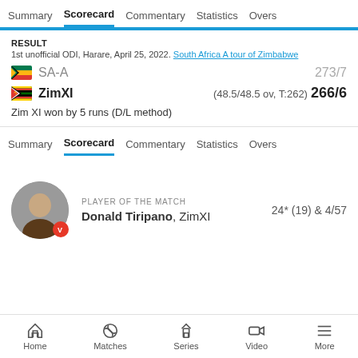Summary  Scorecard  Commentary  Statistics  Overs
RESULT
1st unofficial ODI, Harare, April 25, 2022. South Africa A tour of Zimbabwe
SA-A  273/7
ZimXI  (48.5/48.5 ov, T:262) 266/6
Zim XI won by 5 runs (D/L method)
Summary  Scorecard  Commentary  Statistics  Overs
PLAYER OF THE MATCH
Donald Tiripano, ZimXI
24* (19) & 4/57
Home  Matches  Series  Video  More